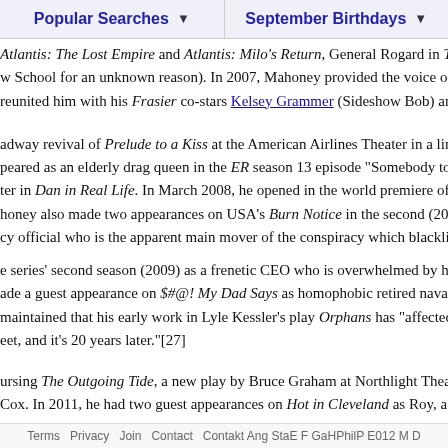Popular Searches ▼   September Birthdays ▼
Atlantis: The Lost Empire and Atlantis: Milo's Return, General Rogard in The Iron Giant (1
w School for an unknown reason). In 2007, Mahoney provided the voice of Dr. Robert Terwa...
reunited him with his Frasier co-stars Kelsey Grammer (Sideshow Bob) and David Hyde Pier...
adway revival of Prelude to a Kiss at the American Airlines Theater in a limited-run engageme...
peared as an elderly drag queen in the ER season 13 episode "Somebody to Love," and co-sta...
ter in Dan in Real Life. In March 2008, he opened in the world premiere of Better Late at the...
honey also made two appearances on USA's Burn Notice in the second (2009) and third (2010...
cy official who is the apparent main mover of the conspiracy which blacklisted Michael Weste...
e series' second season (2009) as a frenetic CEO who is overwhelmed by his personal and pro...
ade a guest appearance on $#@! My Dad Says as homophobic retired naval officer Lt. Comm...
maintained that his early work in Lyle Kessler's play Orphans has "affected people more than...
eet, and it's 20 years later."[27]
ursing The Outgoing Tide, a new play by Bruce Graham at Northlight Theatre in Skokie, Illino...
Cox. In 2011, he had two guest appearances on Hot in Cleveland as Roy, a waiter and a love in...
Terms   Privacy   Join   Contact   Contact Ang StaE F GaHPhilP E012 M D